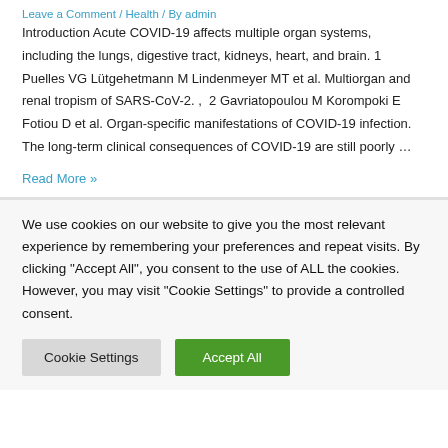Leave a Comment / Health / By admin
Introduction Acute COVID-19 affects multiple organ systems, including the lungs, digestive tract, kidneys, heart, and brain. 1 Puelles VG Lütgehetmann M Lindenmeyer MT et al. Multiorgan and renal tropism of SARS-CoV-2. ,  2 Gavriatopoulou M Korompoki E Fotiou D et al. Organ-specific manifestations of COVID-19 infection. The long-term clinical consequences of COVID-19 are still poorly …
Read More »
We use cookies on our website to give you the most relevant experience by remembering your preferences and repeat visits. By clicking "Accept All", you consent to the use of ALL the cookies. However, you may visit "Cookie Settings" to provide a controlled consent.
Cookie Settings
Accept All